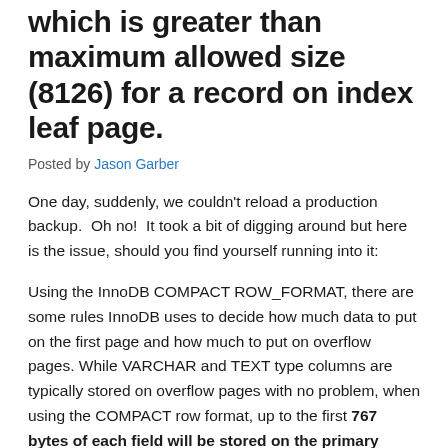which is greater than maximum allowed size (8126) for a record on index leaf page.
Posted by Jason Garber
One day, suddenly, we couldn't reload a production backup.  Oh no!  It took a bit of digging around but here is the issue, should you find yourself running into it:
Using the InnoDB COMPACT ROW_FORMAT, there are some rules InnoDB uses to decide how much data to put on the first page and how much to put on overflow pages. While VARCHAR and TEXT type columns are typically stored on overflow pages with no problem, when using the COMPACT row format, up to the first 767 bytes of each field will be stored on the primary page.